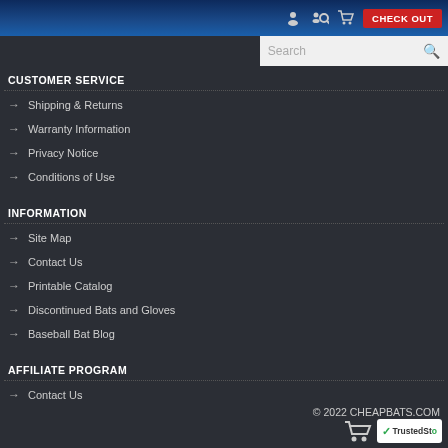CHECK OUT
CUSTOMER SERVICE
Shipping & Returns
Warranty Information
Privacy Notice
Conditions of Use
INFORMATION
Site Map
Contact Us
Printable Catalog
Discontinued Bats and Gloves
Baseball Bat Blog
AFFILIATE PROGRAM
Contact Us
© 2022 CHEAPBATS.COM